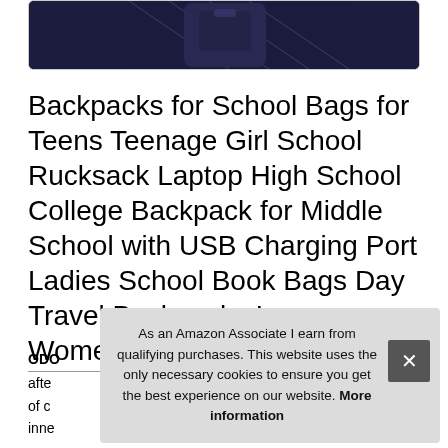[Figure (photo): Partial view of a dark navy blue backpack with pattern, shown at bottom of image frame with rounded rectangle border]
Backpacks for School Bags for Teens Teenage Girl School Rucksack Laptop High School College Backpack for Middle School with USB Charging Port Ladies School Book Bags Day Travel Backpacks Large Women
ODO... afte... of c... inne...
As an Amazon Associate I earn from qualifying purchases. This website uses the only necessary cookies to ensure you get the best experience on our website. More information